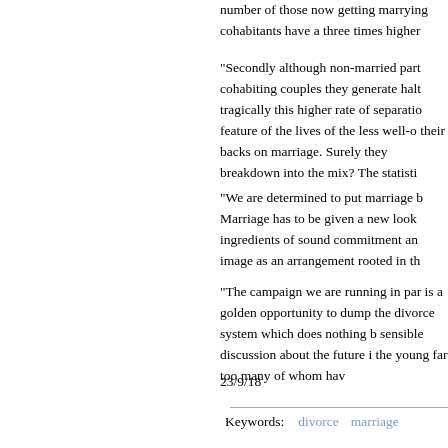number of those now getting marrying cohabitants have a three times higher
"Secondly although non-married part cohabiting couples they generate halt tragically this higher rate of separatio feature of the lives of the less well-o their backs on marriage. Surely they breakdown into the mix? The statisti
"We are determined to put marriage b Marriage has to be given a new look ingredients of sound commitment an image as an arrangement rooted in th
"The campaign we are running in par is a golden opportunity to dump the divorce system which does nothing b sensible discussion about the future i the young far too many of whom hav
23/9/18
Keywords:   divorce   marriage